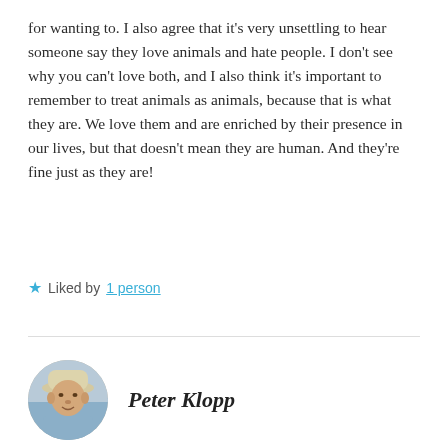for wanting to. I also agree that it's very unsettling to hear someone say they love animals and hate people. I don't see why you can't love both, and I also think it's important to remember to treat animals as animals, because that is what they are. We love them and are enriched by their presence in our lives, but that doesn't mean they are human. And they're fine just as they are!
★ Liked by 1 person
Peter Klopp